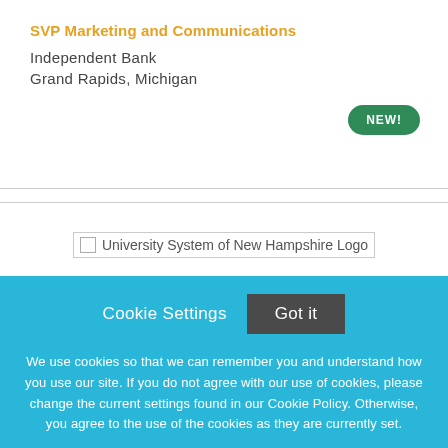SVP Marketing and Communications
Independent Bank
Grand Rapids, Michigan
[Figure (other): Green 'NEW!' badge pill button]
[Figure (logo): University System of New Hampshire Logo]
Cookie Settings   Got it
We use cookies so that we can remember you and understand how you use our site. If you do not agree with our use of cookies, please change the current settings found in our Cookie Policy. Otherwise, you agree to the use of the cookies as they are currently set.